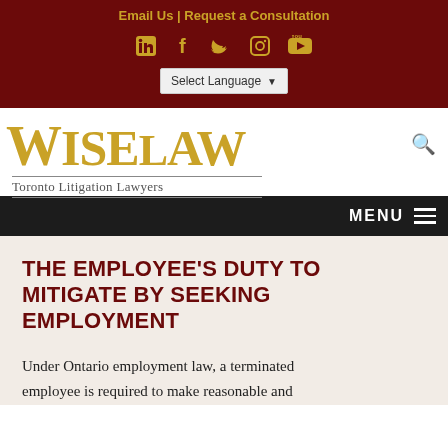Email Us | Request a Consultation
[Figure (logo): Social media icons: LinkedIn, Facebook, Twitter, Instagram, YouTube in gold color on dark red background, plus a Select Language dropdown]
[Figure (logo): WiseLaw - Toronto Litigation Lawyers logo in gold serif font with search icon]
MENU
THE EMPLOYEE'S DUTY TO MITIGATE BY SEEKING EMPLOYMENT
Under Ontario employment law, a terminated employee is required to make reasonable and